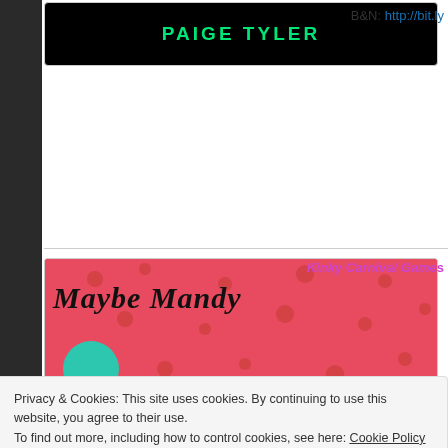[Figure (illustration): Book cover with black background and 'PAIGE TYLER' text in green letters]
B&N: http://bit.ly
[Figure (illustration): Book cover titled 'Maybe Mandy' with red polka dot background and a green circle]
Kinky Carnival Games
Privacy & Cookies: This site uses cookies. By continuing to use this website, you agree to their use.
To find out more, including how to control cookies, see here: Cookie Policy
Close and accept